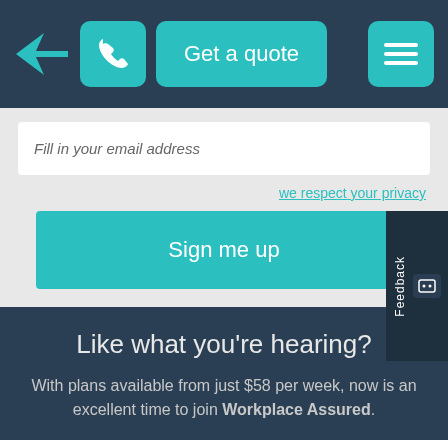[Figure (screenshot): Navigation bar with logo arrow, phone button, Get a quote button, and hamburger menu button on dark background]
Fill in your email address
we respect your privacy
Sign me up
Like what you're hearing?
With plans available from just $58 per week, now is an excellent time to join Workplace Assured.